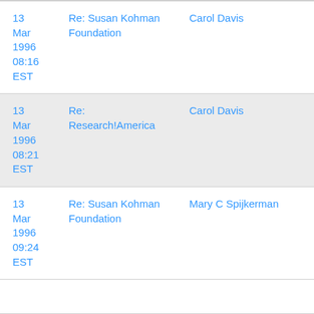| Date | Subject | Sender |
| --- | --- | --- |
| 13 Mar 1996 08:16 EST | Re: Susan Kohman Foundation | Carol Davis |
| 13 Mar 1996 08:21 EST | Re: Research!America | Carol Davis |
| 13 Mar 1996 09:24 EST | Re: Susan Kohman Foundation | Mary C Spijkerman |